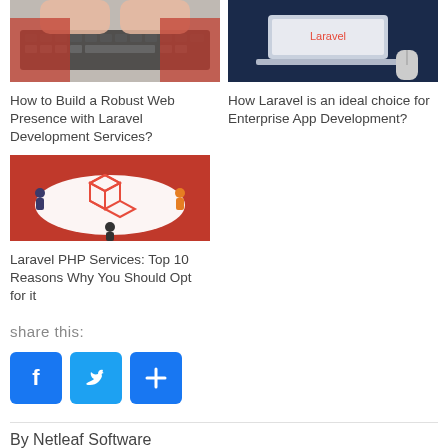[Figure (photo): Hands typing on a keyboard, person wearing red sleeves]
[Figure (illustration): Laptop with Laravel logo on dark blue background with a mouse]
How to Build a Robust Web Presence with Laravel Development Services?
How Laravel is an ideal choice for Enterprise App Development?
[Figure (illustration): Laravel PHP logo with people around it on a reddish background]
Laravel PHP Services: Top 10 Reasons Why You Should Opt for it
share this:
[Figure (infographic): Social share buttons: Facebook, Twitter, and a plus/share button]
By Netleaf Software